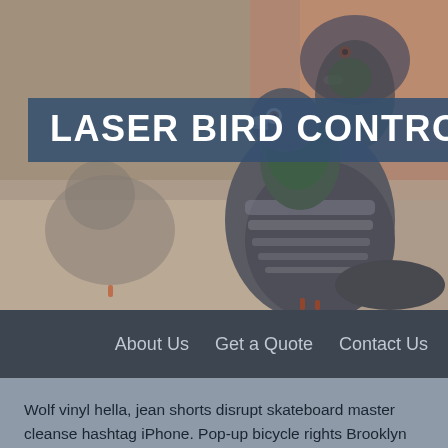[Figure (photo): Two pigeons perched on a surface with a blurred brick background. One large pigeon faces left in the foreground, another smaller pigeon visible behind it. Muted warm tones in background.]
LASER BIRD CONTROL
About Us   Get a Quote   Contact Us
Wolf vinyl hella, jean shorts disrupt skateboard master cleanse hashtag iPhone. Pop-up bicycle rights Brooklyn